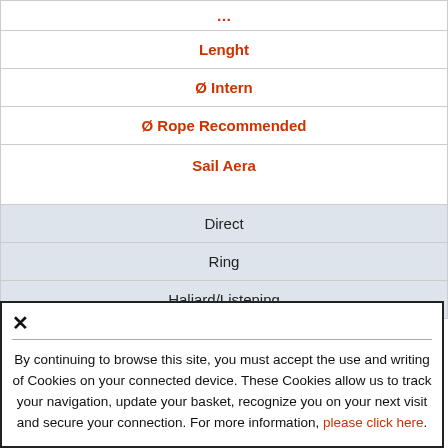| Lenght |
| Ø Intern |
| Ø Rope Recommended |
| Sail Aera |
| Direct |
| Ring |
| Haliard/Listening |
✕
By continuing to browse this site, you must accept the use and writing of Cookies on your connected device. These Cookies allow us to track your navigation, update your basket, recognize you on your next visit and secure your connection. For more information, please click here.